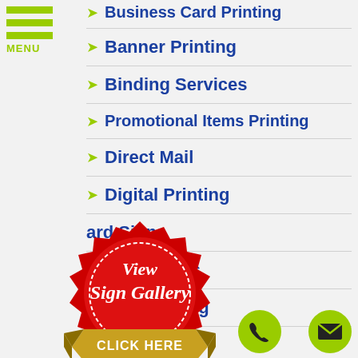[Figure (logo): Hamburger menu icon with three green bars and MENU label below]
Banner Printing
Binding Services
Promotional Items Printing
Direct Mail
Digital Printing
...ard Signs
...dery Services
Cap Printing
[Figure (illustration): Red badge/seal with gold ribbon banner reading CLICK HERE and text View Sign Gallery in italic white script]